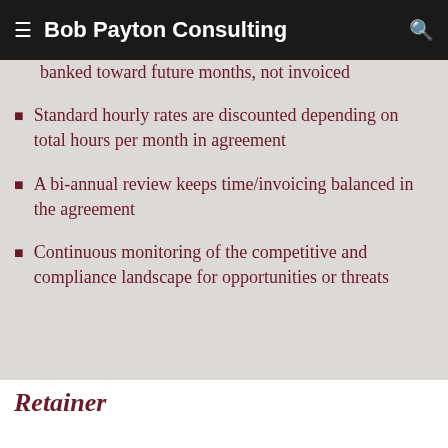Bob Payton Consulting
banked toward future months, not invoiced
Standard hourly rates are discounted depending on total hours per month in agreement
A bi-annual review keeps time/invoicing balanced in the agreement
Continuous monitoring of the competitive and compliance landscape for opportunities or threats
Retainer